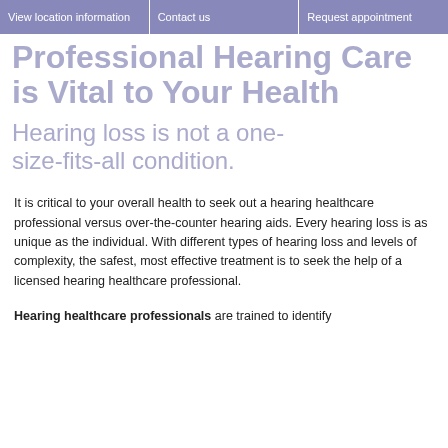View location information | Contact us | Request appointment
Professional Hearing Care is Vital to Your Health
Hearing loss is not a one-size-fits-all condition.
It is critical to your overall health to seek out a hearing healthcare professional versus over-the-counter hearing aids. Every hearing loss is as unique as the individual. With different types of hearing loss and levels of complexity, the safest, most effective treatment is to seek the help of a licensed hearing healthcare professional.
Hearing healthcare professionals are trained to identify